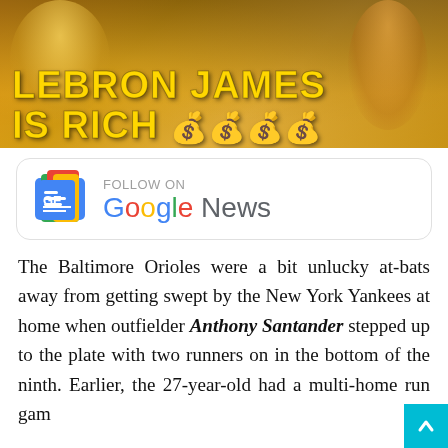[Figure (photo): Banner image with yellow/gold background showing 'LEBRON JAMES IS RICH' text in bold yellow letters with money bag emojis]
[Figure (logo): Google News follow button with Google News icon and 'FOLLOW ON Google News' text]
The Baltimore Orioles were a bit unlucky at-bats away from getting swept by the New York Yankees at home when outfielder Anthony Santander stepped up to the plate with two runners on in the bottom of the ninth. Earlier, the 27-year-old had a multi-home run gam